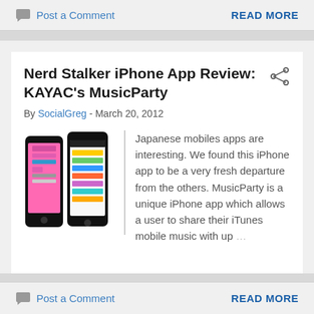Post a Comment   READ MORE
Nerd Stalker iPhone App Review: KAYAC's MusicParty
By SocialGreg - March 20, 2012
[Figure (photo): Two iPhone screenshots showing MusicParty app with pink background and colorful list interface]
Japanese mobiles apps are interesting. We found this iPhone app to be a very fresh departure from the others. MusicParty is a unique iPhone app which allows a user to share their iTunes mobile music with up ...
Post a Comment   READ MORE